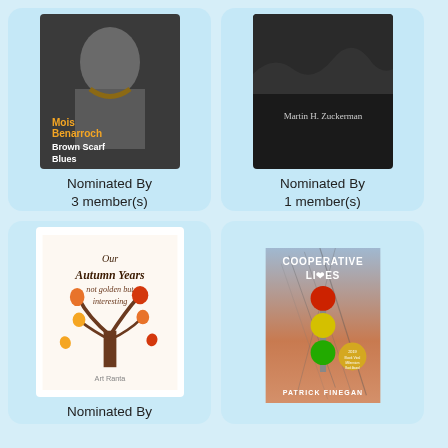[Figure (illustration): Book cover: Brown Scarf Blues by Mois Benarroch, black and white photo of person with brown text overlay]
Nominated By
3 member(s)
with 46 vote(s)
NOMINATE
[Figure (illustration): Book cover: Martin H. Zuckerman, dark cover with author name]
Nominated By
1 member(s)
with 46 vote(s)
NOMINATE
[Figure (illustration): Book cover: Our Autumn Years not golden but interesting by Art Ranta, illustrated tree with autumn leaves]
Nominated By
1 member(s)
with 45 vote(s)
[Figure (illustration): Book cover: Cooperative Lives by Patrick Finegan, traffic light illustration, 2019 Book Viral Millennium Book Award finalist badge]
Nominated By
5 member(s)